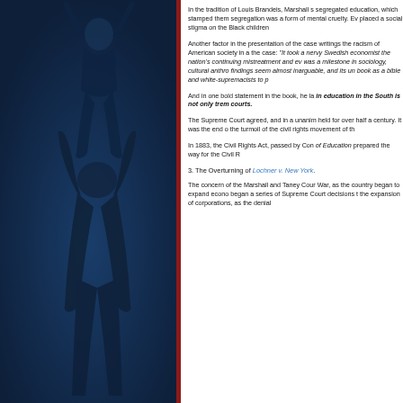[Figure (photo): Dark blue-toned silhouette image of a person (child) being lifted up, arms raised, against a dark navy background]
In the tradition of Louis Brandeis, Marshall s segregated education, which stamped them segregation was a form of mental cruelty. Ev placed a social stigma on the Black children
Another factor in the presentation of the case writings the racism of American society in a the case: "It took a nervy Swedish economist the nation's continuing mistreatment and ev was a milestone in sociology, cultural anthro findings seem almost inarguable, and its un book as a bible and white-supremacists to p
And in one bold statement in the book, he la in education in the South is not only trem courts.
The Supreme Court agreed, and in a unanim held for over half a century. It was the end o the turmoil of the civil rights movement of th
In 1883, the Civil Rights Act, passed by Con of Education prepared the way for the Civil R
3. The Overturning of Lochner v. New York.
The concern of the Marshall and Taney Cour War, as the country began to expand econo began a series of Supreme Court decisions t the expansion of corporations, as the denial